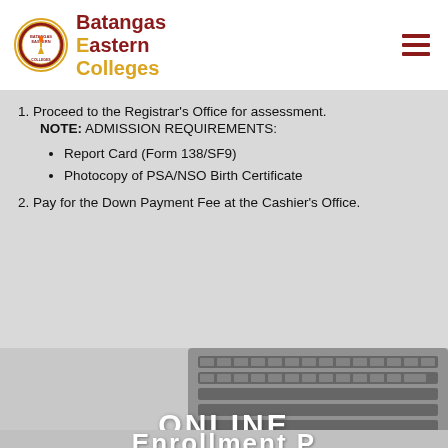[Figure (logo): Batangas Eastern Colleges logo with circular seal and BEC text in red and gold]
1. Proceed to the Registrar's Office for assessment. NOTE: ADMISSION REQUIREMENTS:
Report Card (Form 138/SF9)
Photocopy of PSA/NSO Birth Certificate
2. Pay for the Down Payment Fee at the Cashier's Office.
[Figure (photo): Laptop keyboard image with ONLINE text overlay at bottom, partially showing 'Enroll' text]